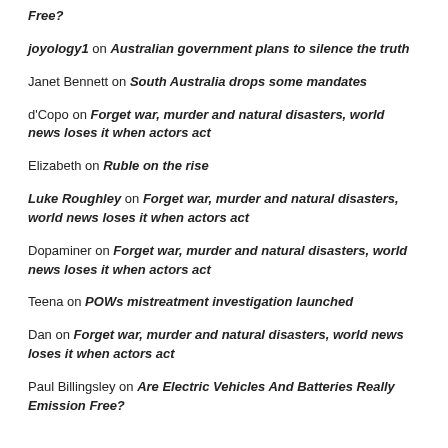Free?
joyology1 on Australian government plans to silence the truth
Janet Bennett on South Australia drops some mandates
d'Copo on Forget war, murder and natural disasters, world news loses it when actors act
Elizabeth on Ruble on the rise
Luke Roughley on Forget war, murder and natural disasters, world news loses it when actors act
Dopaminer on Forget war, murder and natural disasters, world news loses it when actors act
Teena on POWs mistreatment investigation launched
Dan on Forget war, murder and natural disasters, world news loses it when actors act
Paul Billingsley on Are Electric Vehicles And Batteries Really Emission Free?